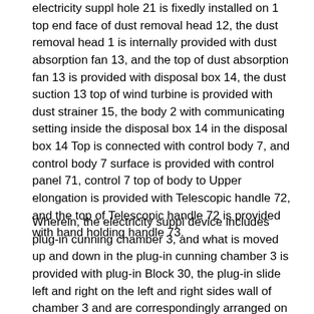electricity suppl hole 21 is fixedly installed on 1 top end face of dust removal head 12, the dust removal head 1 is internally provided with dust absorption fan 13, and the top of dust absorption fan 13 is provided with disposal box 14, the dust suction 13 top of wind turbine is provided with dust strainer 15, the body 2 with communicating setting inside the disposal box 14 in the disposal box 14 Top is connected with control body 7, and control body 7 surface is provided with control panel 71, control 7 top of body to Upper elongation is provided with Telescopic handle 72, and the top of Telescopic handle 72 is provided with hand holding handle 73.
Wherein, the electricity suppl device includes plug-in cunning chamber 3, and what is moved up and down in the plug-in cunning chamber 3 is provided with plug-in Block 30, the plug-in slide left and right on the left and right sides wall of chamber 3 and are correspondingly arranged on the second deep gouge 36,30 left and right ends of plug-in block Left and right is correspondingly arranged on the protrusive board 35 being connected with 36 neat fit of the second deep gouge on face, is provided with second deep gouge 36 It is fixedly connected with 35 lower face of